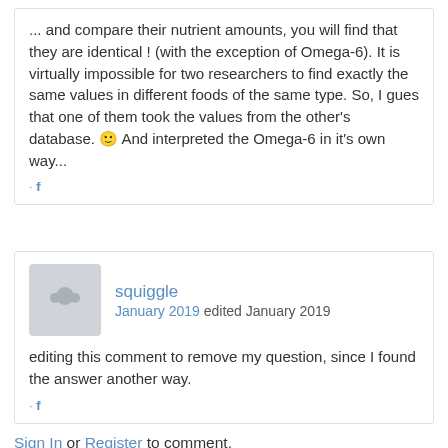... and compare their nutrient amounts, you will find that they are identical ! (with the exception of Omega-6). It is virtually impossible for two researchers to find exactly the same values in different foods of the same type. So, I gues that one of them took the values from the other's database. 🙂 And interpreted the Omega-6 in it's own way...
· f
squiggle
January 2019 edited January 2019
editing this comment to remove my question, since I found the answer another way.
· f
Sign In or Register to comment.